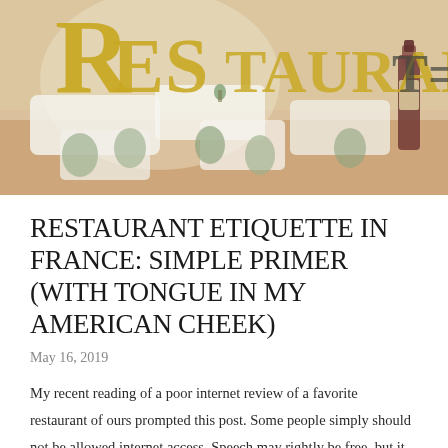[Figure (photo): Photo of an elegant French restaurant interior with white tablecloths, green chairs, warm lighting, and a wine bottle on the right side. The word 'RESTAURANT' is overlaid in large gold/yellow decorative letters at the top.]
RESTAURANT ETIQUETTE IN FRANCE: SIMPLE PRIMER (WITH TONGUE IN MY AMERICAN CHEEK)
May 16, 2019
My recent reading of a poor internet review of a favorite restaurant of ours prompted this post. Some people simply should not be allowed internet access. Speech may rightly be free, but it shouldn't be worthless. From reading the review, I ...